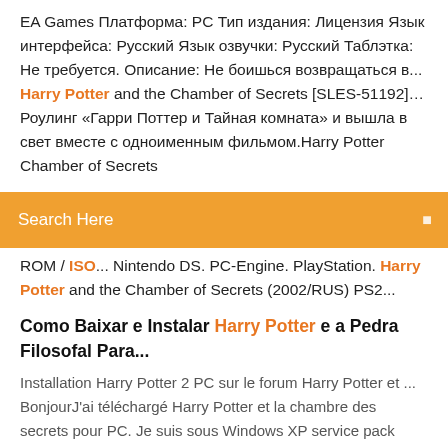EA Games Платформа: PC Тип издания: Лицензия Язык интерфейса: Русский Язык озвучки: Русский Таблэтка: Не требуется. Описание: Не боишься возвращаться в... Harry Potter and the Chamber of Secrets [SLES-51192]… Роулинг «Гарри Поттер и Тайная комната» и вышла в свет вместе с одноименным фильмом.Harry Potter Chamber of Secrets
Search Here
ROM / ISO... Nintendo DS. PC-Engine. PlayStation. Harry Potter and the Chamber of Secrets (2002/RUS) PS2...
Como Baixar e Instalar Harry Potter e a Pedra Filosofal Para...
Installation Harry Potter 2 PC sur le forum Harry Potter et ... BonjourJ'ai téléchargé Harry Potter et la chambre des secrets pour PC. Je suis sous Windows XP service pack 2.Lors de l'install, une erreur survient m'informant que le fichier setup.cgf est ... Harry Potter - Patch FR , Traduction FR , French language